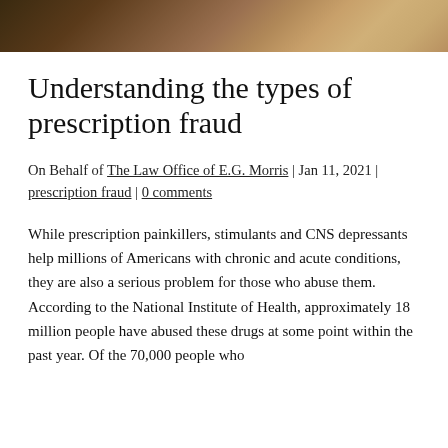[Figure (photo): Partial photo of a person in a suit and tie, cropped at the top of the page as a banner image]
Understanding the types of prescription fraud
On Behalf of The Law Office of E.G. Morris | Jan 11, 2021 | prescription fraud | 0 comments
While prescription painkillers, stimulants and CNS depressants help millions of Americans with chronic and acute conditions, they are also a serious problem for those who abuse them. According to the National Institute of Health, approximately 18 million people have abused these drugs at some point within the past year. Of the 70,000 people who